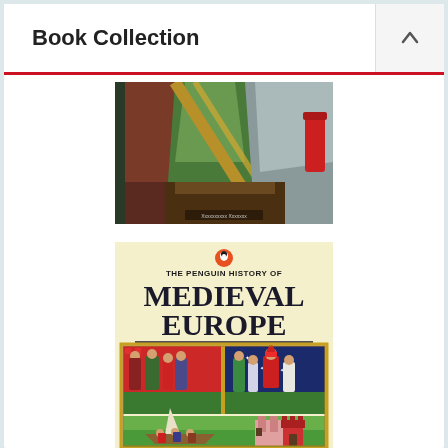Book Collection
[Figure (photo): Partial view of a medieval manuscript illumination book cover showing figures in robes with architectural elements, warm red and green tones]
[Figure (photo): The Penguin History of Medieval Europe book cover with cream background, Penguin logo at top, bold title text, and medieval illuminated manuscript imagery showing courtly and maritime scenes]